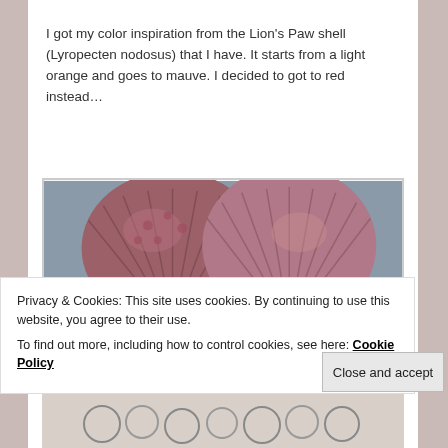I got my color inspiration from the Lion's Paw shell (Lyropecten nodosus) that I have. It starts from a light orange and goes to mauve. I decided to got to red instead…
[Figure (photo): Two Lion's Paw scallop shells (reddish-purple/mauve) displayed in front of three Distress ink pads on a burlap or sandy surface.]
Privacy & Cookies: This site uses cookies. By continuing to use this website, you agree to their use.
To find out more, including how to control cookies, see here: Cookie Policy
Close and accept